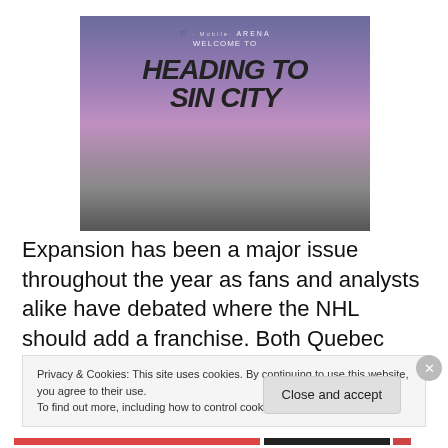[Figure (photo): Photo of T-Mobile Arena exterior with large text overlay reading 'HEADING TO SIN CITY' in bold italic letters, with 'WELCOME TO' visible in the background and T-Mobile Arena branding at top]
Expansion has been a major issue throughout the year as fans and analysts alike have debated where the NHL should add a franchise. Both Quebec City and Las Vegas
Privacy & Cookies: This site uses cookies. By continuing to use this website, you agree to their use.
To find out more, including how to control cookies, see here: Cookie Policy
Close and accept